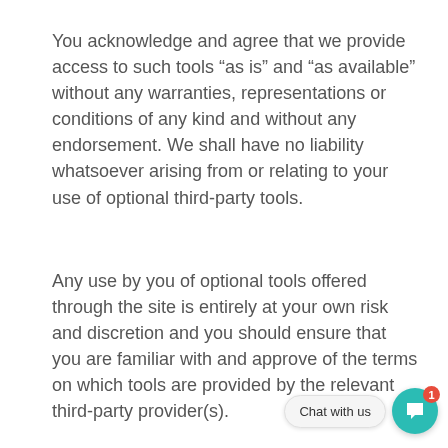You acknowledge and agree that we provide access to such tools “as is” and “as available” without any warranties, representations or conditions of any kind and without any endorsement. We shall have no liability whatsoever arising from or relating to your use of optional third-party tools.
Any use by you of optional tools offered through the site is entirely at your own risk and discretion and you should ensure that you are familiar with and approve of the terms on which tools are provided by the relevant third-party provider(s).